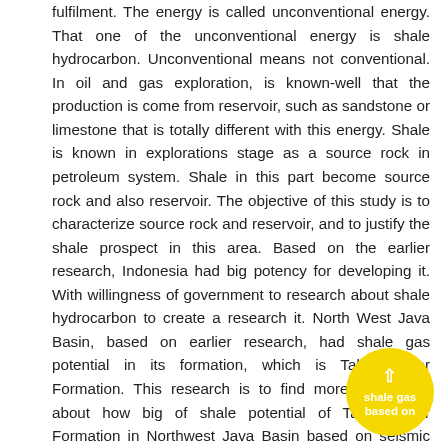fulfilment. The energy is called unconventional energy. That one of the unconventional energy is shale hydrocarbon. Unconventional means not conventional. In oil and gas exploration, is known-well that the production is come from reservoir, such as sandstone or limestone that is totally different with this energy. Shale is known in explorations stage as a source rock in petroleum system. Shale in this part become source rock and also reservoir. The objective of this study is to characterize source rock and reservoir, and to justify the shale prospect in this area. Based on the earlier research, Indonesia had big potency for developing it. With willingness of government to research about shale hydrocarbon to create a research it. North West Java Basin, based on earlier research, had shale gas potential in its formation, which is Talang Akar Formation. This research is to find more knowledge about how big of shale potential of Talang Akar Formation in Northwest Java Basin based on seismic data, log data and geochemical analysis. With the comprehensive method and data on this research is expected good result. That potency is estimated with good range reservoir, total organic carbon, and the geometry and shale gas zone formation. Generally, AE Field had good potency based on reservoir character, total organic content and also maturity. The result shows that reservoir prospect is located at southwest of
[Figure (infographic): Yellow circular badge with upward arrow icon and text 'shale gas based on']